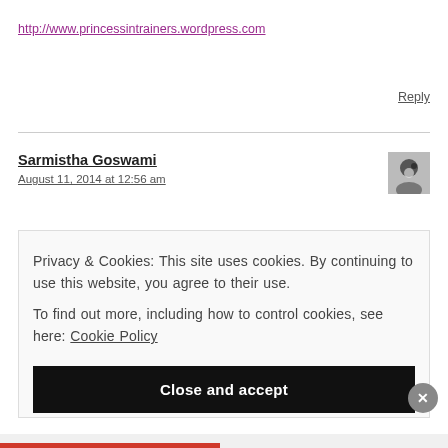http://www.princessintrainers.wordpress.com
Reply
Sarmistha Goswami
August 11, 2014 at 12:56 am
Privacy & Cookies: This site uses cookies. By continuing to use this website, you agree to their use.
To find out more, including how to control cookies, see here: Cookie Policy
Close and accept